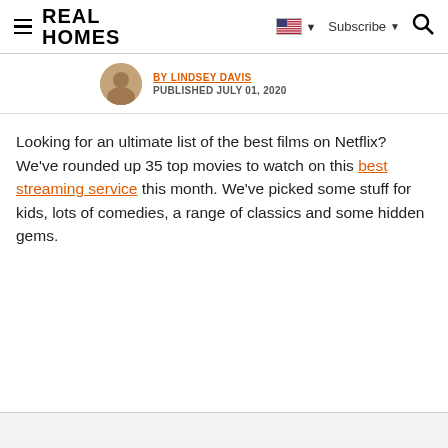REAL HOMES
BY [AUTHOR NAME] PUBLISHED JULY 01, 2020
Looking for an ultimate list of the best films on Netflix? We've rounded up 35 top movies to watch on this best streaming service this month. We've picked some stuff for kids, lots of comedies, a range of classics and some hidden gems.